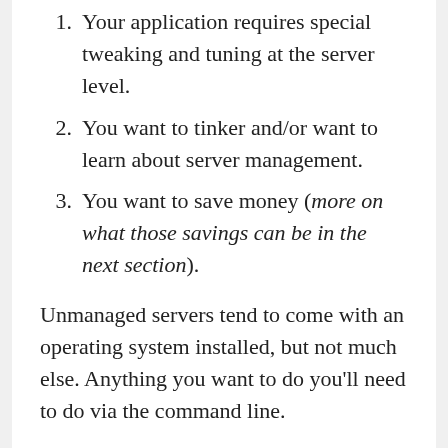Your application requires special tweaking and tuning at the server level.
You want to tinker and/or want to learn about server management.
You want to save money (more on what those savings can be in the next section).
Unmanaged servers tend to come with an operating system installed, but not much else. Anything you want to do you’ll need to do via the command line.
It’s important to understand that the command line is the ultimate power tool.